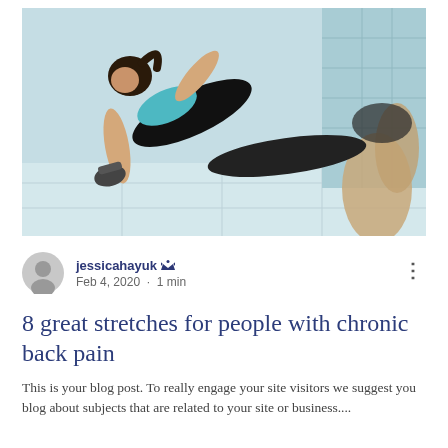[Figure (photo): A woman doing a plank exercise with dumbbells on a gym floor, wearing black sportswear and a teal sports bra. Another person's legs and lower body visible in the background near a wall.]
jessicahayuk [crown icon] Feb 4, 2020 · 1 min
8 great stretches for people with chronic back pain
This is your blog post. To really engage your site visitors we suggest you blog about subjects that are related to your site or business....